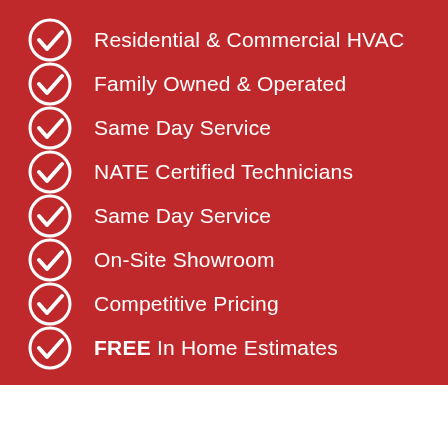Residential & Commercial HVAC
Family Owned & Operated
Same Day Service
NATE Certified Technicians
Same Day Service
On-Site Showroom
Competitive Pricing
FREE In Home Estimates